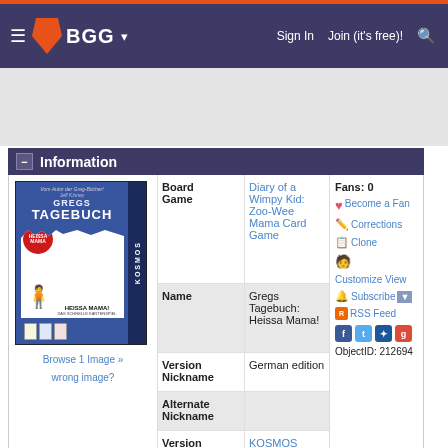BGG - Sign In | Join (it's free)!
Information
[Figure (photo): Book cover of Gregs Tagebuch: Heissa Mama! card game by Kosmos]
Browse 1 Image » wrong image?
| Field | Value |
| --- | --- |
| Board Game | Diary of a Wimpy Kid: Zoo-Wee Mama Card Game |
| Name | Gregs Tagebuch: Heissa Mama! |
| Version Nickname | German edition |
| Alternate Nickname |  |
| Version Publisher | KOSMOS |
Fans: 0
Become a Fan
Corrections
Clone
Customize View
Subscribe
RSS Feed
ObjectID: 212694